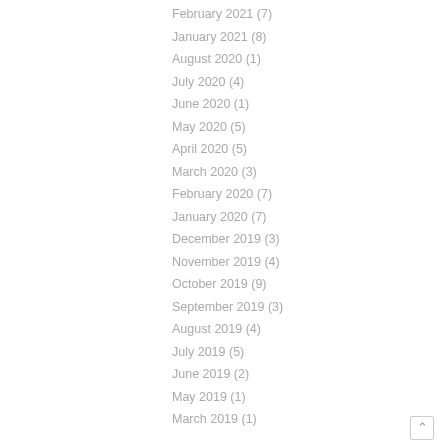February 2021 (7)
January 2021 (8)
August 2020 (1)
July 2020 (4)
June 2020 (1)
May 2020 (5)
April 2020 (5)
March 2020 (3)
February 2020 (7)
January 2020 (7)
December 2019 (3)
November 2019 (4)
October 2019 (9)
September 2019 (3)
August 2019 (4)
July 2019 (5)
June 2019 (2)
May 2019 (1)
March 2019 (1)